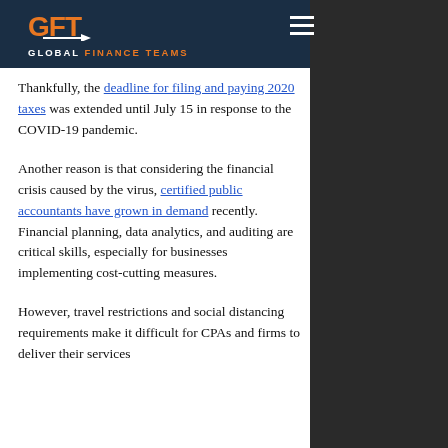GFT GLOBAL FINANCE TEAMS
Thankfully, the deadline for filing and paying 2020 taxes was extended until July 15 in response to the COVID-19 pandemic.
Another reason is that considering the financial crisis caused by the virus, certified public accountants have grown in demand recently. Financial planning, data analytics, and auditing are critical skills, especially for businesses implementing cost-cutting measures.
However, travel restrictions and social distancing requirements make it difficult for CPAs and firms to deliver their services